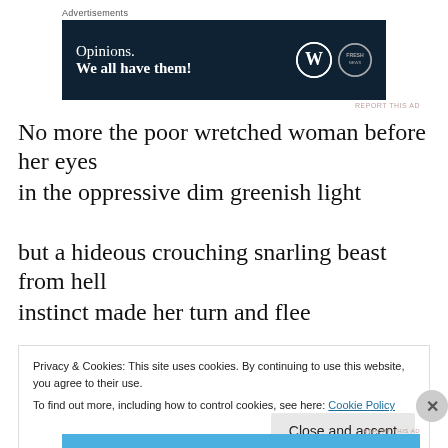Advertisements
[Figure (screenshot): Dark navy advertisement banner with text 'Opinions. We all have them!' and WordPress and FreshMAV logos on the right side.]
REPORT THIS AD
No more the poor wretched woman before her eyes
in the oppressive dim greenish light
but a hideous crouching snarling beast from hell
instinct made her turn and flee
Privacy & Cookies: This site uses cookies. By continuing to use this website, you agree to their use.
To find out more, including how to control cookies, see here: Cookie Policy
Close and accept